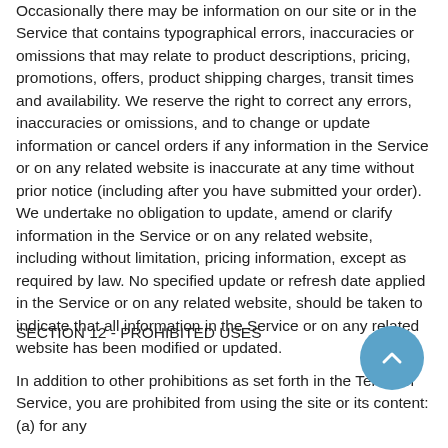Occasionally there may be information on our site or in the Service that contains typographical errors, inaccuracies or omissions that may relate to product descriptions, pricing, promotions, offers, product shipping charges, transit times and availability. We reserve the right to correct any errors, inaccuracies or omissions, and to change or update information or cancel orders if any information in the Service or on any related website is inaccurate at any time without prior notice (including after you have submitted your order). We undertake no obligation to update, amend or clarify information in the Service or on any related website, including without limitation, pricing information, except as required by law. No specified update or refresh date applied in the Service or on any related website, should be taken to indicate that all information in the Service or on any related website has been modified or updated.
SECTION 12 - PROHIBITED USES
In addition to other prohibitions as set forth in the Terms of Service, you are prohibited from using the site or its content: (a) for any unlawful purpose; (b) to solicit others to perform or participate in any